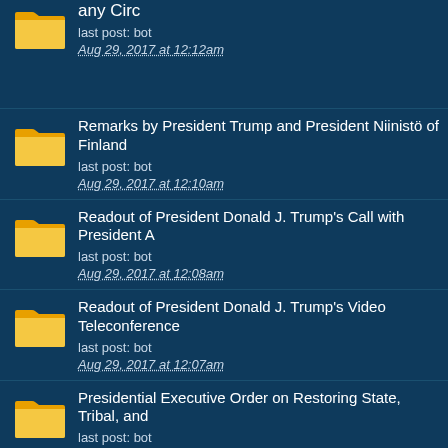any Circ
last post: bot
Aug 29, 2017 at 12:12am
Remarks by President Trump and President Niinistö of Finland
last post: bot
Aug 29, 2017 at 12:10am
Readout of President Donald J. Trump's Call with President A
last post: bot
Aug 29, 2017 at 12:08am
Readout of President Donald J. Trump's Video Teleconference
last post: bot
Aug 29, 2017 at 12:07am
Presidential Executive Order on Restoring State, Tribal, and
last post: bot
Aug 29, 2017 at 12:05am
President Trump Pardons Sheriff Joe Arpaio